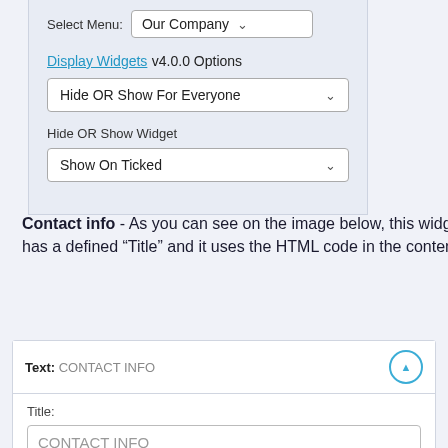[Figure (screenshot): WordPress widget settings panel showing Select Menu dropdown set to 'Our Company', Display Widgets v4.0.0 Options dropdown set to 'Hide OR Show For Everyone', and Hide OR Show Widget dropdown set to 'Show On Ticked']
Contact info - As you can see on the image below, this widget has a defined “Title” and it uses the HTML code in the content.
[Figure (screenshot): Widget editor panel showing Text: CONTACT INFO header with collapse arrow, Title field containing 'CONTACT INFO', and an info box saying 'This widget may contain code that may work better in the "Custom HTML" widget. How about trying that widget instead?']